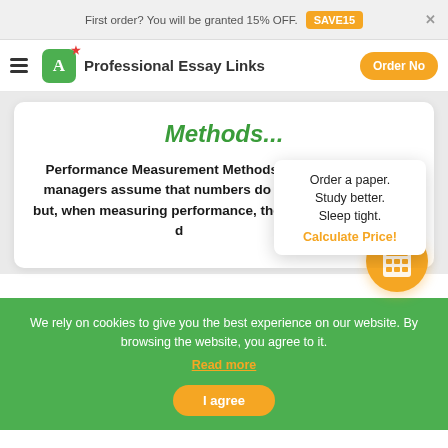First order? You will be granted 15% OFF. SAVE15
Professional Essay Links  Order Now
Methods...
Performance Measurement MethodsMany managers assume that numbers do not lie but, when measuring performance, they often d
Order a paper. Study better. Sleep tight. Calculate Price!
We rely on cookies to give you the best experience on our website. By browsing the website, you agree to it. Read more
I agree